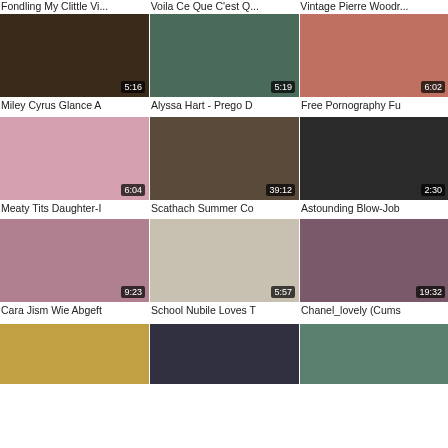Fondling My Clittle Vi...  Voila Ce Que C'est Q...  Vintage Pierre Woodr...
[Figure (screenshot): Video thumbnail grid showing adult video thumbnails with titles and durations]
Miley Cyrus Glance A
Alyssa Hart - Prego D
Free Pornography Fu
Meaty Tits Daughter-I
Scathach Summer Co
Astounding Blow-Job
Cara Jism Wie Abgeft
School Nubile Loves T
Chanel_lovely (Cums